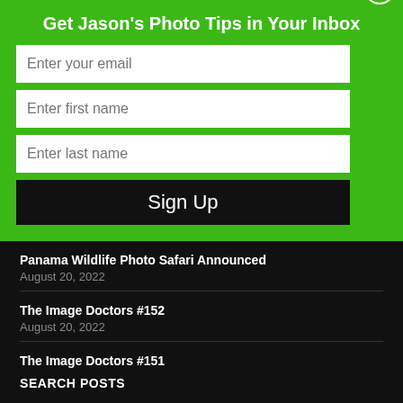Get Jason's Photo Tips in Your Inbox
[Figure (screenshot): Email signup form with fields for email, first name, last name, and a Sign Up button on a green background. A circular X close button is on the right side.]
Panama Wildlife Photo Safari Announced
August 20, 2022
The Image Doctors #152
August 20, 2022
The Image Doctors #151
August 13, 2022
SEARCH POSTS